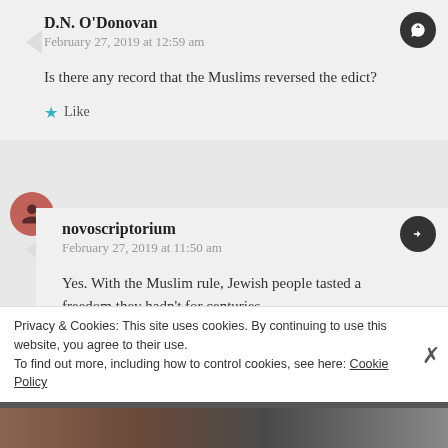D.N. O'Donovan
February 27, 2019 at 12:59 am
Is there any record that the Muslims reversed the edict?
Like
novoscriptorium
February 27, 2019 at 11:50 am
Yes. With the Muslim rule, Jewish people tasted a freedom they hadn't for centuries.
Privacy & Cookies: This site uses cookies. By continuing to use this website, you agree to their use.
To find out more, including how to control cookies, see here: Cookie Policy
Close and accept